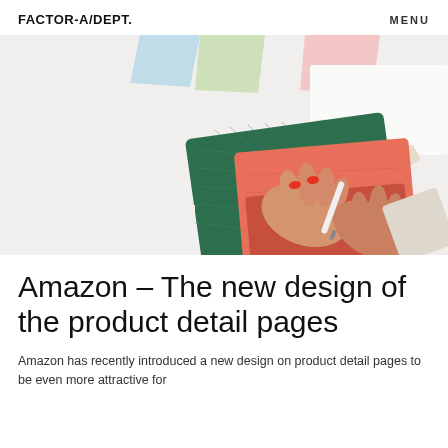FACTOR-A/DEPT.    MENU
[Figure (photo): Overhead view of hands using a craft knife/pen on a pink notebook resting on a green cutting mat, with colorful paper pieces in the background on a white surface.]
Amazon – The new design of the product detail pages
Amazon has recently introduced a new design on product detail pages to be even more attractive for